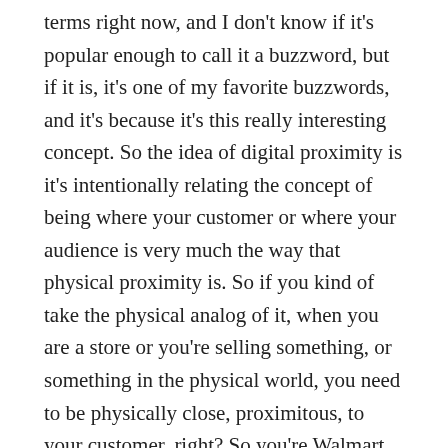terms right now, and I don't know if it's popular enough to call it a buzzword, but if it is, it's one of my favorite buzzwords, and it's because it's this really interesting concept. So the idea of digital proximity is it's intentionally relating the concept of being where your customer or where your audience is very much the way that physical proximity is. So if you kind of take the physical analog of it, when you are a store or you're selling something, or something in the physical world, you need to be physically close, proximitous, to your customer, right? So you're Walmart, you put a store in Rochester, which is where I live, right? Maybe you put a few of them there, because you want to be close to your customer.